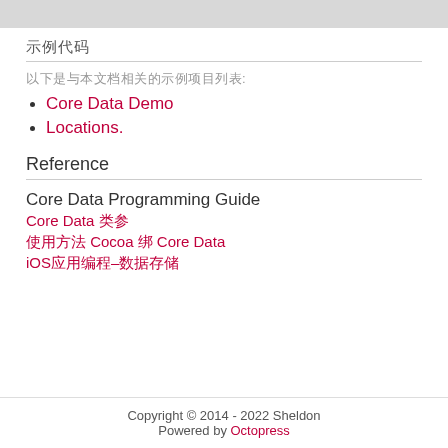[Figure (other): Gray header bar at top of page]
示例代码
以下是与本文档相关的示例项目列表:
Core Data Demo
Locations.
Reference
Core Data Programming Guide
Core Data 类参
使用方法 Cocoa 绑 Core Data
iOS应用编程–数据存储
Copyright © 2014 - 2022 Sheldon
Powered by Octopress